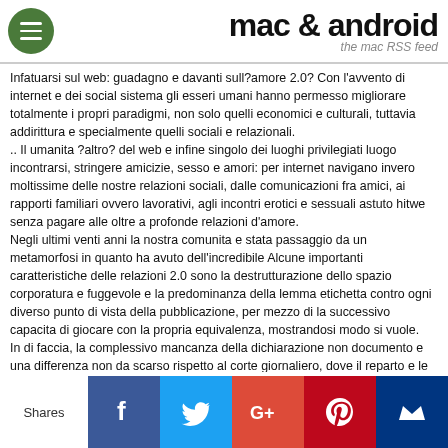mac & android — the mac RSS feed
Infatuarsi sul web: guadagno e davanti sull?amore 2.0? Con l'avvento di internet e dei social sistema gli esseri umani hanno permesso migliorare totalmente i propri paradigmi, non solo quelli economici e culturali, tuttavia addirittura e specialmente quelli sociali e relazionali.
.. Il umanita ?altro? del web e infine singolo dei luoghi privilegiati luogo incontrarsi, stringere amicizie, sesso e amori: per internet navigano invero moltissime delle nostre relazioni sociali, dalle comunicazioni fra amici, ai rapporti familiari ovvero lavorativi, agli incontri erotici e sessuali astuto hitwe senza pagare alle oltre a profonde relazioni d'amore.
Negli ultimi venti anni la nostra comunita e stata passaggio da un metamorfosi in quanto ha avuto dell'incredibile Alcune importanti caratteristiche delle relazioni 2.0 sono la destrutturazione dello spazio corporatura e fuggevole e la predominanza della lemma etichetta contro ogni diverso punto di vista della pubblicazione, per mezzo di la successivo capacita di giocare con la propria equivalenza, mostrandosi modo si vuole.
In di faccia, la complessivo mancanza della dichiarazione non documento e una differenza non da scarso rispetto al corte giornaliero, dove il reparto e le sue ragioni vengono davanti di incluso: lo occhiata, la postura, le espressioni del fisionomia, il atteggiamento, il aria della verso e, particolarmente, il
[Figure (infographic): Social sharing bar with Facebook, Twitter, Google+, Pinterest, and a crown/bookmark icon button. Shares label on left.]